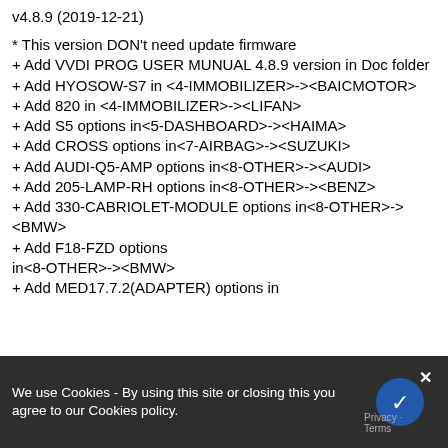v4.8.9 (2019-12-21)
* This version DON't need update firmware
+ Add VVDI PROG USER MUNUAL 4.8.9 version in Doc folder
+ Add HYOSOW-S7 in <4-IMMOBILIZER>-><BAICMOTOR>
+ Add 820 in <4-IMMOBILIZER>-><LIFAN>
+ Add S5 options in<5-DASHBOARD>-><HAIMA>
+ Add CROSS options in<7-AIRBAG>-><SUZUKI>
+ Add AUDI-Q5-AMP options in<8-OTHER>-><AUDI>
+ Add 205-LAMP-RH options in<8-OTHER>-><BENZ>
+ Add 330-CABRIOLET-MODULE options in<8-OTHER>-><BMW>
+ Add F18-FZD options in<8-OTHER>-><BMW>
+ Add MED17.7.2(ADAPTER) options in
We use Cookies - By using this site or closing this you agree to our Cookies policy.